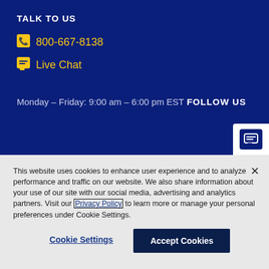TALK TO US
800-667-8138
Live Chat
Monday – Friday: 9:00 am – 6:00 pm EST
FOLLOW US
This website uses cookies to enhance user experience and to analyze performance and traffic on our website. We also share information about your use of our site with our social media, advertising and analytics partners. Visit our Privacy Policy to learn more or manage your personal preferences under Cookie Settings.
Cookie Settings
Accept Cookies